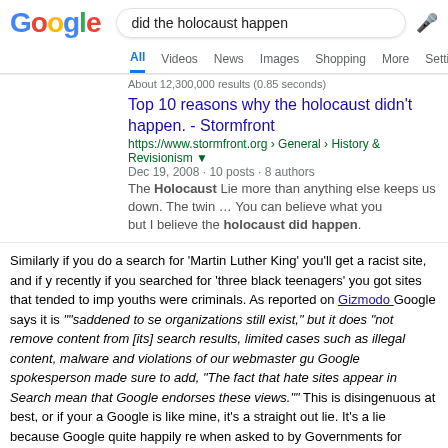[Figure (screenshot): Google search interface showing search query 'did the holocaust happen' with navigation tabs (All, Videos, News, Images, Shopping, More, Settings) and a search result from Stormfront]
About 12,300,000 results (0.85 seconds)
Top 10 reasons why the holocaust didn't happen. - Stormfront
https://www.stormfront.org › General › History & Revisionism
Dec 19, 2008 · 10 posts · 8 authors
The Holocaust Lie more than anything else keeps us down. The twin … You can believe what you but I believe the holocaust did happen.
Similarly if you do a search for 'Martin Luther King' you'll get a racist site, and if you recently if you searched for 'three black teenagers' you got sites that tended to imp youths were criminals. As reported on Gizmodo Google says it is ""saddened to se organizations still exist," but it does "not remove content from [its] search results, limited cases such as illegal content, malware and violations of our webmaster gu Google spokesperson made sure to add, "The fact that hate sites appear in Search mean that Google endorses these views."" This is disingenuous at best, or if your a Google is like mine, it's a straight out lie. It's a lie because Google quite happily re when asked to by Governments for starters - we see this under the 'right to be forge starters. Furthermore, Google could quite easy, and DOES remove content from se when it finds 'Google bombs'. These used to exist a lot in the past - do a search for result would be a biography of George Bush or Tony Blair for example. Google re being 'gamed' and changed the system so that it couldn't happen again.
Google has chosen not to do that this time. It's perfectly obvious that Google is bei links to that specific result coming from Stormfront itself, the Wikipedia and other websites. As with the MLK example, people link to it. Google decides that's an in